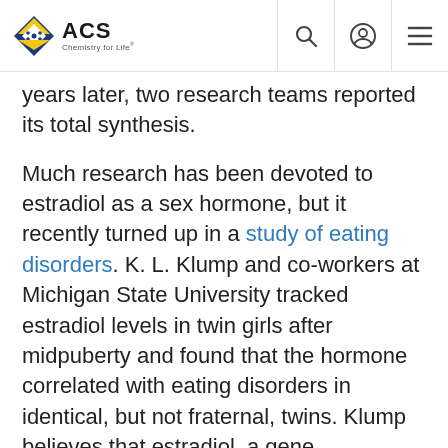ACS Chemistry for Life
years later, two research teams reported its total synthesis.
Much research has been devoted to estradiol as a sex hormone, but it recently turned up in a study of eating disorders. K. L. Klump and co-workers at Michigan State University tracked estradiol levels in twin girls after midpuberty and found that the hormone correlated with eating disorders in identical, but not fraternal, twins. Klump believes that estradiol, a gene transcription factor in the brain, may switch on genes related to the disorders.